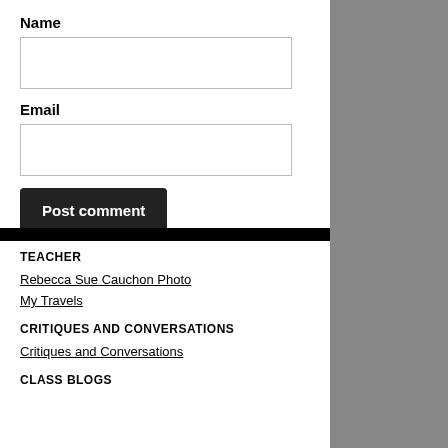Name
Email
Post comment
TEACHER
Rebecca Sue Cauchon Photo
My Travels
CRITIQUES AND CONVERSATIONS
Critiques and Conversations
CLASS BLOGS